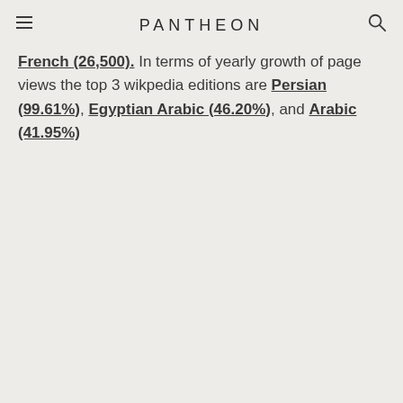PANTHEON
French (26,500). In terms of yearly growth of page views the top 3 wikpedia editions are Persian (99.61%), Egyptian Arabic (46.20%), and Arabic (41.95%)